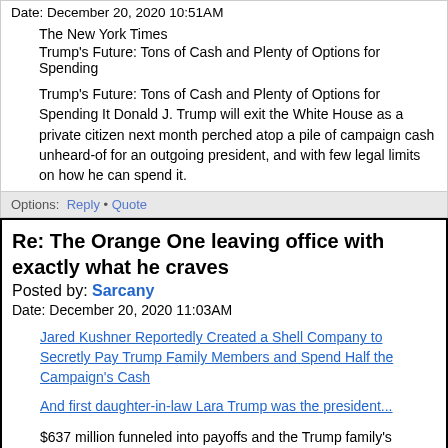Date: December 20, 2020 10:51AM
The New York Times
Trump's Future: Tons of Cash and Plenty of Options for Spending
Trump's Future: Tons of Cash and Plenty of Options for Spending It Donald J. Trump will exit the White House as a private citizen next month perched atop a pile of campaign cash unheard-of for an outgoing president, and with few legal limits on how he can spend it.
Options: Reply • Quote
Re: The Orange One leaving office with exactly what he craves
Posted by: Sarcany
Date: December 20, 2020 11:03AM
Jared Kushner Reportedly Created a Shell Company to Secretly Pay Trump Family Members and Spend Half the Campaign's Cash
And first daughter-in-law Lara Trump was the president...
$637 million funneled into payoffs and the Trump family's private accounts. And Pence is in on it.
That's on top of the $200+ million he's collected from his legal-fund scam and $170 million funneled directly from the campaign into his pocket.